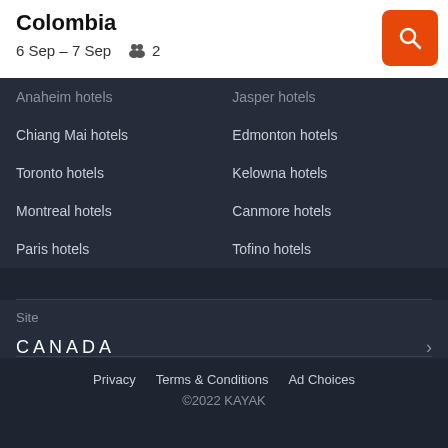Colombia
6 Sep – 7 Sep   2
Anaheim hotels
Jasper hotels
Chiang Mai hotels
Edmonton hotels
Toronto hotels
Kelowna hotels
Montreal hotels
Canmore hotels
Paris hotels
Tofino hotels
Site
CANADA
Privacy   Terms & Conditions   Ad Choices
©2022 KAYAK